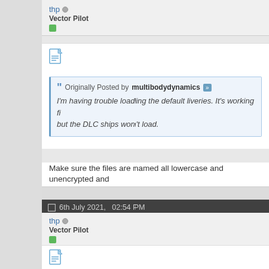thp (offline) Vector Pilot
[Figure (other): Document/file icon]
Originally Posted by multibodydynamics
I'm having trouble loading the default liveries. It's working fi... but the DLC ships won't load.
Make sure the files are named all lowercase and unencrypted and
6th July 2021, 02:54 PM
thp (offline) Vector Pilot
[Figure (other): Document/file icon]
New version 1.0.1 is out.
Source code: https://github.com/thp/wipeout-pulse-shipedit